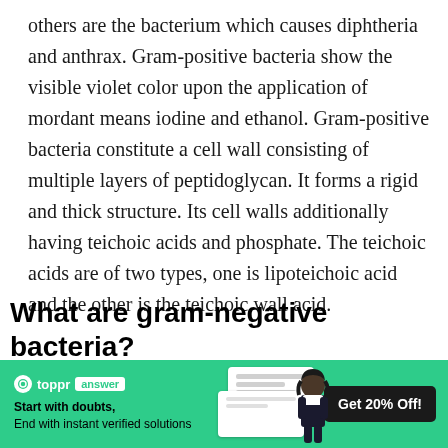others are the bacterium which causes diphtheria and anthrax. Gram-positive bacteria show the visible violet color upon the application of mordant means iodine and ethanol. Gram-positive bacteria constitute a cell wall consisting of multiple layers of peptidoglycan. It forms a rigid and thick structure. Its cell walls additionally having teichoic acids and phosphate. The teichoic acids are of two types, one is lipoteichoic acid and the other is the teichoic wall acid.
What are gram-negative bacteria?
Gram-negative bacteria do not retain the crystal violet stain
[Figure (infographic): Toppr answer app advertisement banner with green background. Shows Toppr logo with 'answer' badge, tagline 'Start with doubts, End with instant verified solutions', illustration of study cards and a girl student, and a 'Get 20% Off!' button.]